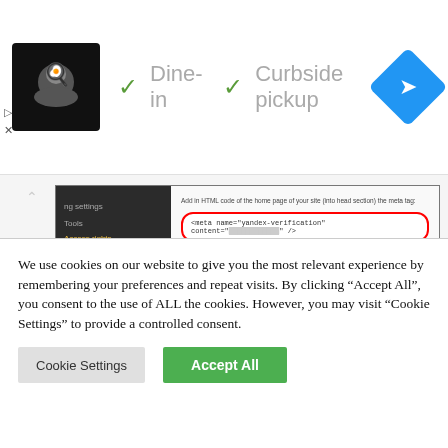[Figure (screenshot): Advertisement banner showing a restaurant logo (chef with hat), checkmarks next to 'Dine-in' and 'Curbside pickup' text, and a blue diamond navigation arrow icon on the right. Small play and close controls on the left.]
[Figure (screenshot): Screenshot of Yandex Webmaster tools showing the meta tag verification step. Left panel shows dark sidebar with 'ng settings', 'Tools', 'Access rights' menu items. Right panel shows instructions to add HTML meta tag with a red-circled code snippet: <meta name='yandex-verification' content='...' />, and a yellow 'Check' button.]
(Yandex Verification Code)
We use cookies on our website to give you the most relevant experience by remembering your preferences and repeat visits. By clicking "Accept All", you consent to the use of ALL the cookies. However, you may visit "Cookie Settings" to provide a controlled consent.